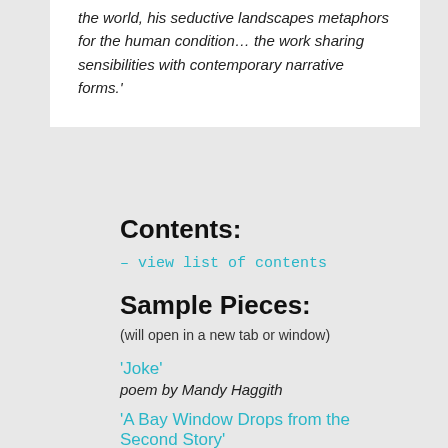the world, his seductive landscapes metaphors for the human condition… the work sharing sensibilities with contemporary narrative forms.'
Contents:
– view list of contents
Sample Pieces:
(will open in a new tab or window)
'Joke'
poem by Mandy Haggith
'A Bay Window Drops from the Second Story'
poem by Nathan Breckenridge
'Like a Fist'
poem by Jim Conwell
'Four Ways of Looking at a